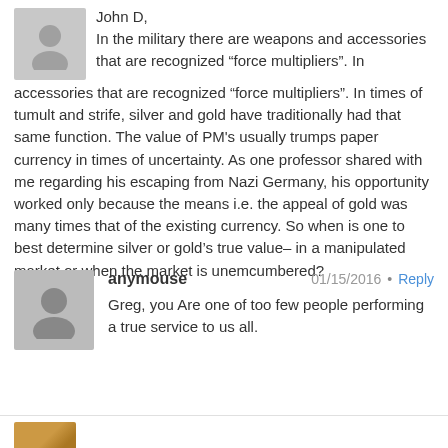[Figure (illustration): Gray avatar placeholder icon for first commenter (John D)]
John D,
In the military there are weapons and accessories that are recognized “force multipliers”. In times of tumult and strife, silver and gold have traditionally had that same function. The value of PM's usually trumps paper currency in times of uncertainty. As one professor shared with me regarding his escaping from Nazi Germany, his opportunity worked only because the means i.e. the appeal of gold was many times that of the existing currency. So when is one to best determine silver or gold’s true value– in a manipulated market or when the market is unemcumbered?
[Figure (illustration): Gray avatar placeholder icon for second commenter (anymouse)]
anymouse
01/15/2016
Reply
Greg, you Are one of too few people performing a true service to us all.
[Figure (illustration): Partial avatar for third commenter, partially visible at bottom of page]